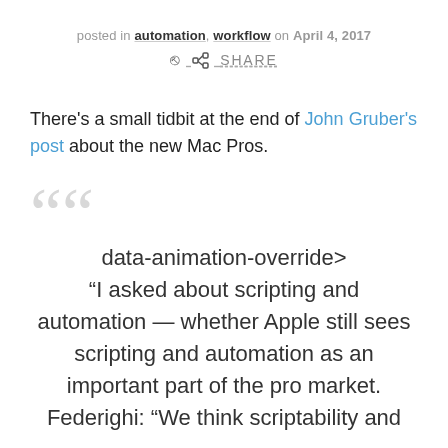posted in automation, workflow on April 4, 2017
SHARE
There's a small tidbit at the end of John Gruber's post about the new Mac Pros.
data-animation-override> “I asked about scripting and automation — whether Apple still sees scripting and automation as an important part of the pro market. Federighi: “We think scriptability and